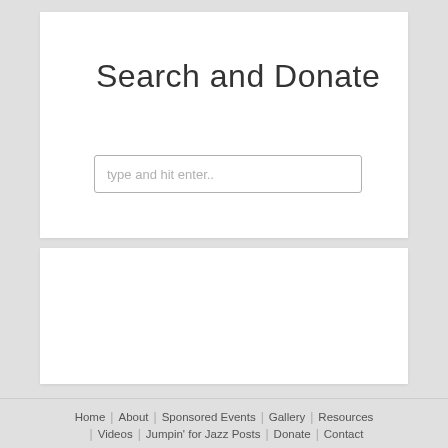Search and Donate
[Figure (other): Search input box with placeholder text 'type and hit enter..']
Help us fund research to find a cure for Friedreich's Ataxia. Donate Now
Home | About | Sponsored Events | Gallery | Resources | Videos | Jumpin' for Jazz Posts | Donate | Contact